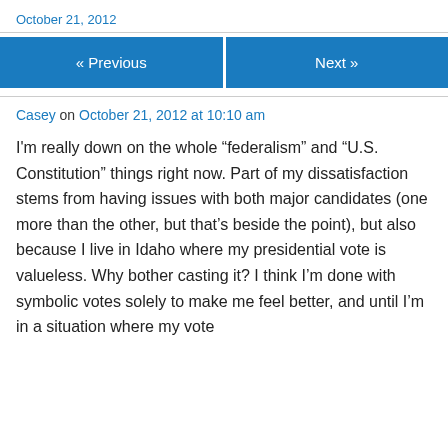October 21, 2012
« Previous
Next »
Casey on October 21, 2012 at 10:10 am
I'm really down on the whole “federalism” and “U.S. Constitution” things right now. Part of my dissatisfaction stems from having issues with both major candidates (one more than the other, but that’s beside the point), but also because I live in Idaho where my presidential vote is valueless. Why bother casting it? I think I’m done with symbolic votes solely to make me feel better, and until I’m in a situation where my vote